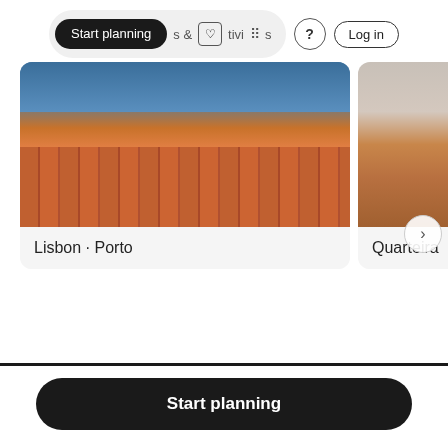Start planning  &  [heart icon] tivities  [grid icon]  ?  Log in
[Figure (screenshot): Travel card showing Lisbon and Porto city photo with terracotta rooftops and yellow building]
Lisbon · Porto
[Figure (screenshot): Travel card showing Quarteira city photo, partially cropped]
Quarteira
Start planning